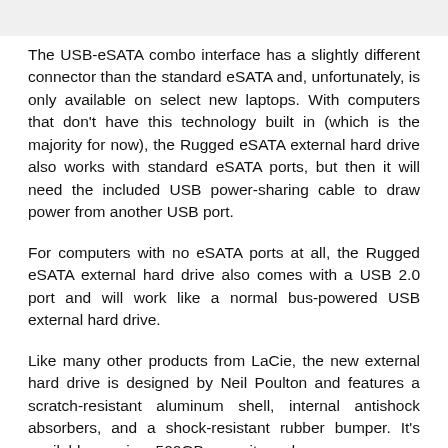The USB-eSATA combo interface has a slightly different connector than the standard eSATA and, unfortunately, is only available on select new laptops. With computers that don't have this technology built in (which is the majority for now), the Rugged eSATA external hard drive also works with standard eSATA ports, but then it will need the included USB power-sharing cable to draw power from another USB port.
For computers with no eSATA ports at all, the Rugged eSATA external hard drive also comes with a USB 2.0 port and will work like a normal bus-powered USB external hard drive.
Like many other products from LaCie, the new external hard drive is designed by Neil Poulton and features a scratch-resistant aluminum shell, internal antishock absorbers, and a shock-resistant rubber bumper. It's available now in a 500GB capacity and